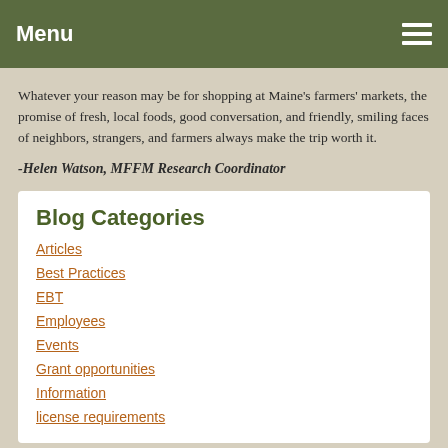Menu
Whatever your reason may be for shopping at Maine's farmers' markets, the promise of fresh, local foods, good conversation, and friendly, smiling faces of neighbors, strangers, and farmers always make the trip worth it.
-Helen Watson, MFFM Research Coordinator
Blog Categories
Articles
Best Practices
EBT
Employees
Events
Grant opportunities
Information
license requirements